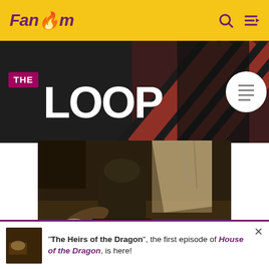Fandom
[Figure (screenshot): Fandom 'The Loop' banner with dark background and diagonal stripe pattern in red and black, with THE LOOP logo text and a circular document icon]
[Figure (photo): Dark, muddy battle scene from House of the Dragon showing armored figures on the ground]
"The Heirs of the Dragon", the first episode of House of the Dragon, is here!